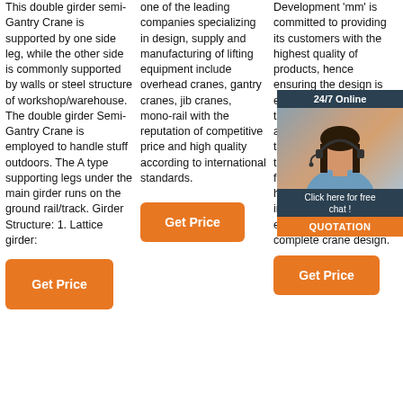This double girder semi-Gantry Crane is supported by one side leg, while the other side is commonly supported by walls or steel structure of workshop/warehouse. The double girder Semi-Gantry Crane is employed to handle stuff outdoors. The A type supporting legs under the main girder runs on the ground rail/track. Girder Structure: 1. Lattice girder:
Get Price
one of the leading companies specializing in design, supply and manufacturing of lifting equipment include overhead cranes, gantry cranes, jib cranes, mono-rail with the reputation of competitive price and high quality according to international standards.
Get Price
[Figure (photo): 24/7 Online chat overlay with photo of a female customer service representative wearing a headset, along with a 'Click here for free chat!' message and an orange QUOTATION button.]
Development 'mm' is committed to providing its customers with the highest quality of products, hence ensuring the design is equipped with the best of technology, uses advanced software for the product development to optimum cost-effective for its customers. 'mm' has also identified and implemented other embedded software for complete crane design.
Get Price